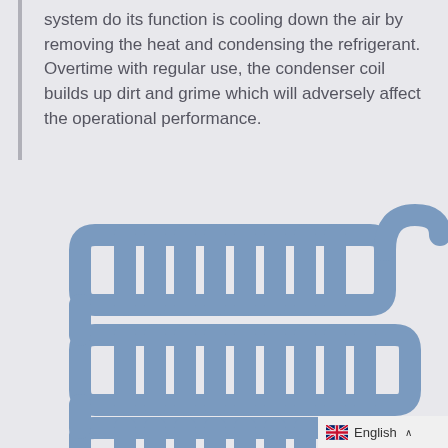system do its function is cooling down the air by removing the heat and condensing the refrigerant. Overtime with regular use, the condenser coil builds up dirt and grime which will adversely affect the operational performance.
[Figure (illustration): Icon illustration of a condenser coil showing three rows of parallel serpentine tubing with fins, rendered in blue-grey on a light grey background.]
English